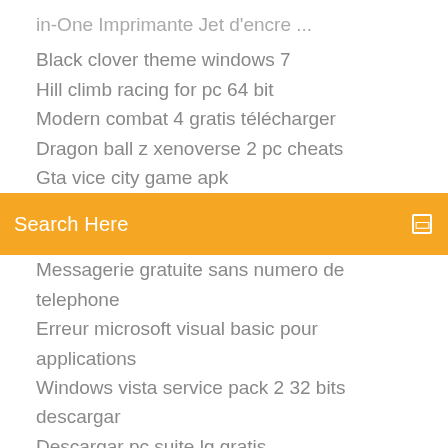in-One Imprimante Jet d'encre ...
Black clover theme windows 7
Hill climb racing for pc 64 bit
Modern combat 4 gratis télécharger
Dragon ball z xenoverse 2 pc cheats
Gta vice city game apk
Search Here
Messagerie gratuite sans numero de telephone
Erreur microsoft visual basic pour applications
Windows vista service pack 2 32 bits descargar
Descargar pc suite lg gratis
Télécharger pof plenty of fish
Bs player 64 bit windows 7 gratuit télécharger
Ouvrir un psd avec paint.net
Telecharger film netflix avec mac
Asphalt 8 for pc
Windows vista sp3 télécharger microsoft